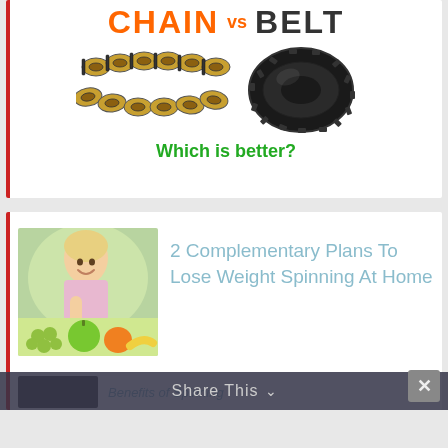[Figure (infographic): Chain vs Belt infographic showing bicycle chain and toothed belt drive with 'Which is better?' question]
[Figure (photo): Smiling blonde woman with fruits (grapes, apple, orange) in foreground, blurred green background]
2 Complementary Plans To Lose Weight Spinning At Home
Benefits of Spinning
Share This